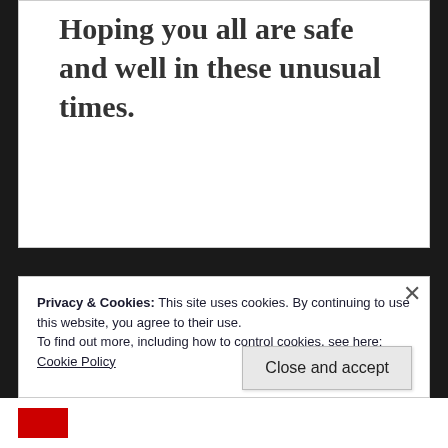Hoping you all are safe and well in these unusual times.
Privacy & Cookies: This site uses cookies. By continuing to use this website, you agree to their use.
To find out more, including how to control cookies, see here:
Cookie Policy
Close and accept